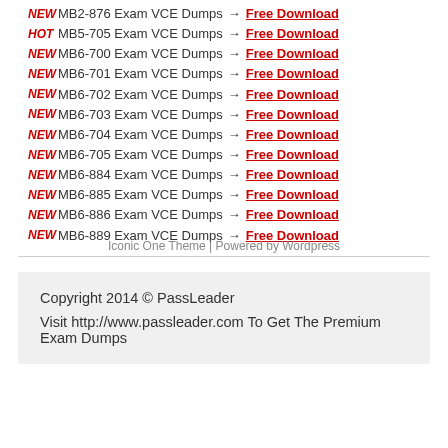NEW MB2-876 Exam VCE Dumps → Free Download
HOT MB5-705 Exam VCE Dumps → Free Download
NEW MB6-700 Exam VCE Dumps → Free Download
NEW MB6-701 Exam VCE Dumps → Free Download
NEW MB6-702 Exam VCE Dumps → Free Download
NEW MB6-703 Exam VCE Dumps → Free Download
NEW MB6-704 Exam VCE Dumps → Free Download
NEW MB6-705 Exam VCE Dumps → Free Download
NEW MB6-884 Exam VCE Dumps → Free Download
NEW MB6-885 Exam VCE Dumps → Free Download
NEW MB6-886 Exam VCE Dumps → Free Download
NEW MB6-889 Exam VCE Dumps → Free Download
Copyright 2014 © PassLeader
Visit http://www.passleader.com To Get The Premium Exam Dumps
Iconic One Theme | Powered by Wordpress